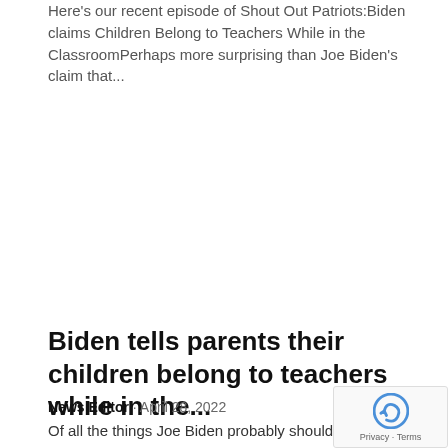Here's our recent episode of Shout Out Patriots:Biden claims Children Belong to Teachers While in the ClassroomPerhaps more surprising than Joe Biden's claim that...
Top Stories
Biden tells parents their children belong to teachers while in the...
News Editor · April 28, 2022
Of all the things Joe Biden probably shouldn't be talking about, other people's children might top the list. Yet on April 27, addressing educators at...